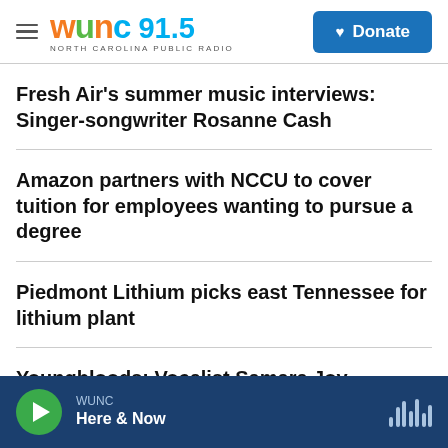WUNC 91.5 NORTH CAROLINA PUBLIC RADIO — Donate
Fresh Air's summer music interviews: Singer-songwriter Rosanne Cash
Amazon partners with NCCU to cover tuition for employees wanting to pursue a degree
Piedmont Lithium picks east Tennessee for lithium plant
Youngbloods: Vocalist Samara Joy
WUNC Here & Now